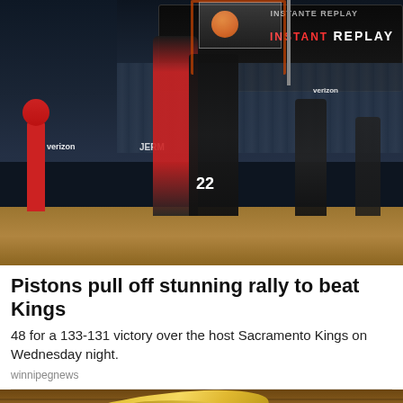[Figure (photo): Basketball game photo: Detroit Pistons player in red uniform attempting a layup near the basket against Sacramento Kings player number 22 in black uniform. Indoor arena with crowd, verizon signage visible, scoreboard showing INSTANT REPLAY in upper right.]
Pistons pull off stunning rally to beat Kings
48 for a 133-131 victory over the host Sacramento Kings on Wednesday night.
winnipegnews
[Figure (photo): Close-up photo of ripe bananas with brown spots on a wooden surface.]